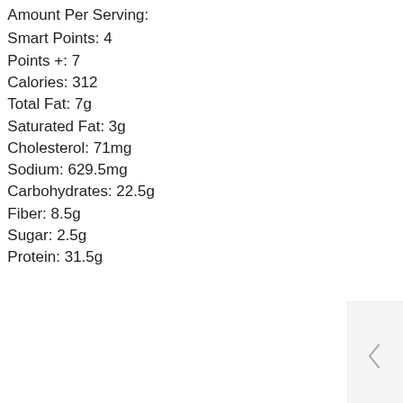Amount Per Serving:
Smart Points: 4
Points +: 7
Calories: 312
Total Fat: 7g
Saturated Fat: 3g
Cholesterol: 71mg
Sodium: 629.5mg
Carbohydrates: 22.5g
Fiber: 8.5g
Sugar: 2.5g
Protein: 31.5g
All images and text ©Gina Homolka for Skinnytaste
Click HERE for source
[Figure (other): Facebook social media icon (blue square with white f)]
[Figure (other): Yelp social media icon (red square with white star-burst logo)]
LATER POSTS